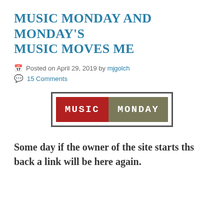MUSIC MONDAY AND MONDAY'S MUSIC MOVES ME
Posted on April 29, 2019 by mjgolch
15 Comments
[Figure (logo): Music Monday logo with two colored rectangular blocks: red block with 'MUSIC' in white pixel font and olive/green block with 'MONDAY' in white pixel font, surrounded by a dark border frame.]
Some day if the owner of the site starts ths back a link will be here again.